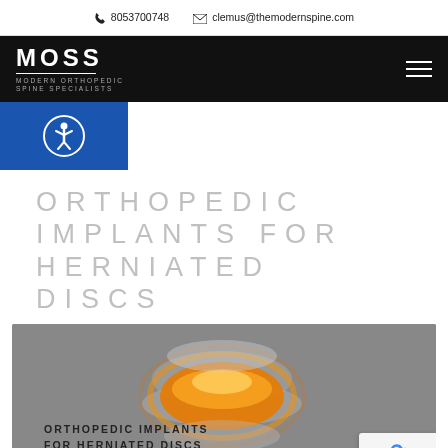8053700748   clemus@themodernspine.com
[Figure (logo): MOSS Modern Orthopedic Spine Specialists logo on black navigation bar with hamburger menu]
[Figure (illustration): Accessibility icon (person in circle) on blue background]
ORTHOPEDIC IMPLANTS FOR HERNIATED DISCS
[Figure (photo): Medical illustration of herniated spinal disc shown in orange/amber glow against grey background, with text overlay reading ORTHOPEDIC IMPLANTS FOR HERNIATED DISCS and MOSS logo at bottom]